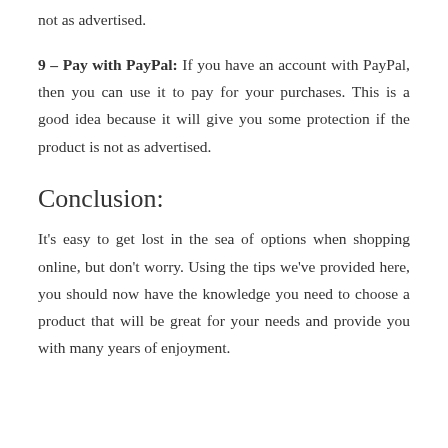not as advertised.
9 – Pay with PayPal: If you have an account with PayPal, then you can use it to pay for your purchases. This is a good idea because it will give you some protection if the product is not as advertised.
Conclusion:
It's easy to get lost in the sea of options when shopping online, but don't worry. Using the tips we've provided here, you should now have the knowledge you need to choose a product that will be great for your needs and provide you with many years of enjoyment.